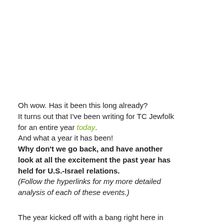Oh wow. Has it been this long already? It turns out that I've been writing for TC Jewfolk for an entire year today. And what a year it has been! Why don't we go back, and have another look at all the excitement the past year has held for U.S.-Israel relations. (Follow the hyperlinks for my more detailed analysis of each of these events.)
The year kicked off with a bang right here in Minnesota, when the DFL Progressive Caucus passed a resolution to divest from Israel. Perhaps ironically, this was closely followed by Israel establishing the first and largest field